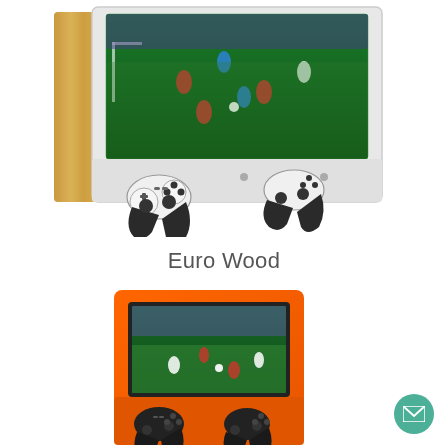[Figure (photo): A wood-framed gaming station with a large screen showing a soccer/football game, two white Xbox-style controllers docked at the bottom front of the frame. The frame has a natural wood side panel.]
Euro Wood
[Figure (photo): An orange rectangular gaming cabinet/station with a screen showing a soccer game and two black controllers mounted at the bottom of the orange panel.]